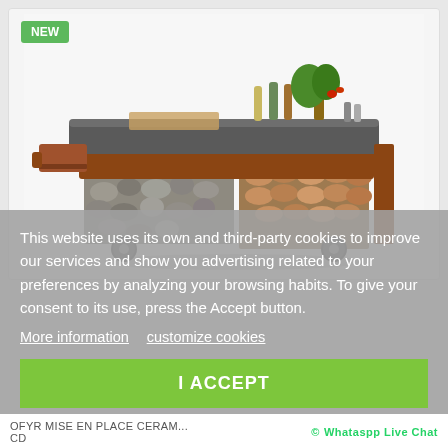[Figure (screenshot): Product image of OFYR Mise en Place Ceramic outdoor cooking station — a rustic wood and stone preparation table with a dark stone/concrete top surface, wooden frame in warm brown/rust tones, drawer on the left side, firewood storage compartment, river stones at the base, and wheels. The top is set with bottles, a plant, and condiments. A green 'NEW' badge appears in the top-left corner.]
This website uses its own and third-party cookies to improve our services and show you advertising related to your preferences by analyzing your browsing habits. To give your consent to its use, press the Accept button.
More information   customize cookies
I ACCEPT
OFYR MISE EN PLACE CERAM... © Whataspp Live Chat CD